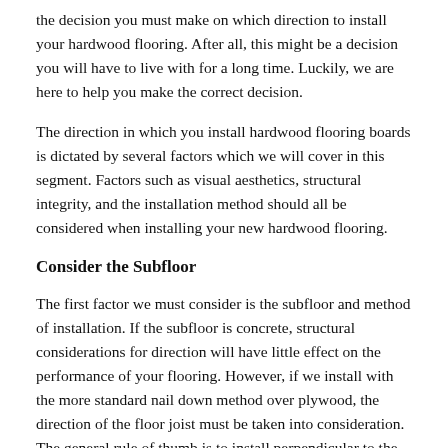the decision you must make on which direction to install your hardwood flooring. After all, this might be a decision you will have to live with for a long time. Luckily, we are here to help you make the correct decision.
The direction in which you install hardwood flooring boards is dictated by several factors which we will cover in this segment. Factors such as visual aesthetics, structural integrity, and the installation method should all be considered when installing your new hardwood flooring.
Consider the Subfloor
The first factor we must consider is the subfloor and method of installation. If the subfloor is concrete, structural considerations for direction will have little effect on the performance of your flooring. However, if we install with the more standard nail down method over plywood, the direction of the floor joist must be taken into consideration. The general rule of thumb is to install perpendicular to the floor joist, doing so will allow the flooring to keep its structural integrity if the joists sag. Exceptions can be